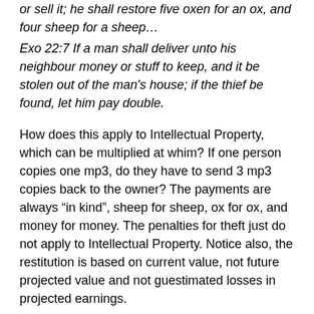or sell it; he shall restore five oxen for an ox, and four sheep for a sheep…
Exo 22:7 If a man shall deliver unto his neighbour money or stuff to keep, and it be stolen out of the man's house; if the thief be found, let him pay double.
How does this apply to Intellectual Property, which can be multiplied at whim? If one person copies one mp3, do they have to send 3 mp3 copies back to the owner? The payments are always “in kind”, sheep for sheep, ox for ox, and money for money. The penalties for theft just do not apply to Intellectual Property. Notice also, the restitution is based on current value, not future projected value and not guestimated losses in projected earnings.
It should also be noted that stealing implies loss of the original to owner: